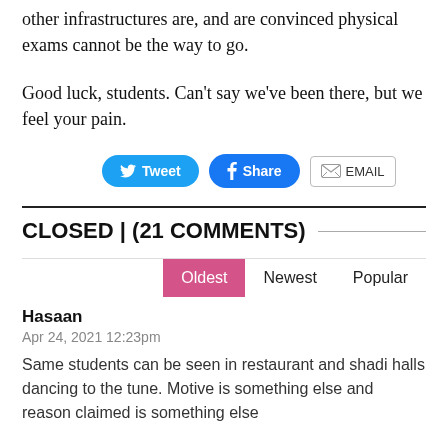other infrastructures are, and are convinced physical exams cannot be the way to go.
Good luck, students. Can't say we've been there, but we feel your pain.
[Figure (other): Social sharing buttons: Tweet (Twitter), Share (Facebook), EMAIL]
CLOSED | (21 COMMENTS)
[Figure (other): Sort buttons: Oldest (active/selected, pink), Newest, Popular]
Hasaan
Apr 24, 2021 12:23pm
Same students can be seen in restaurant and shadi halls dancing to the tune. Motive is something else and reason claimed is something else